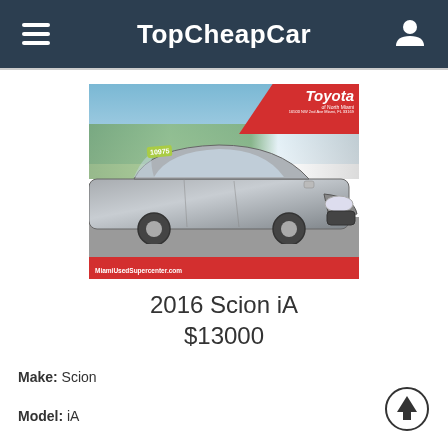TopCheapCar
[Figure (photo): Silver 2016 Scion iA sedan photographed outdoors at Toyota of North Miami dealership. Red diagonal banners at top-right and bottom. Text reads 'Toyota of North Miami' and 'MiamiUsedSupercenter.com'. Green price sticker visible on windshield.]
2016 Scion iA
$13000
Make: Scion
Model: iA
Year: 2016
Mileage: 5442
Vin: 3MYDLBZV8GY125744